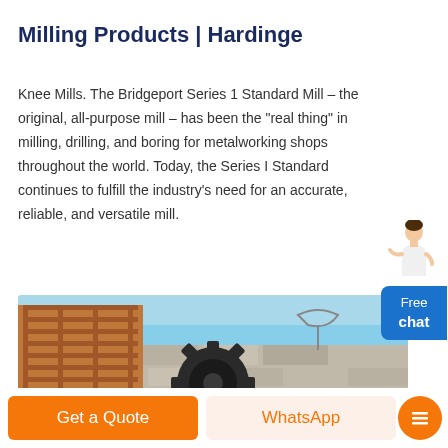Milling Products | Hardinge
Knee Mills. The Bridgeport Series 1 Standard Mill – the original, all-purpose mill – has been the "real thing" in milling, drilling, and boring for metalworking shops throughout the world. Today, the Series I Standard continues to fulfill the industry's need for an accurate, reliable, and versatile mill.
[Figure (photo): Outdoor photo showing a construction building structure on the left with orange/red scaffolding and a large gear/cog in the foreground center, with a stone wall and blue sky in the background.]
Get a Quote
WhatsApp